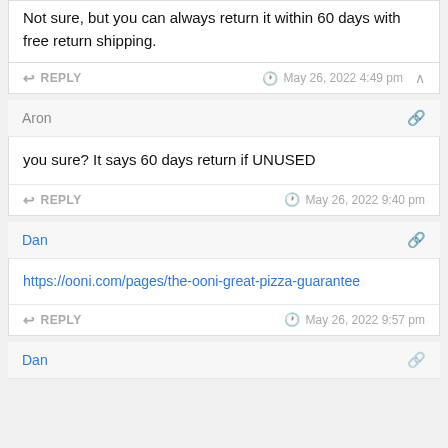Not sure, but you can always return it within 60 days with free return shipping.
REPLY   May 26, 2022 4:49 pm
Aron
you sure? It says 60 days return if UNUSED
REPLY   May 26, 2022 9:40 pm
Dan
https://ooni.com/pages/the-ooni-great-pizza-guarantee
REPLY   May 26, 2022 9:57 pm
Dan